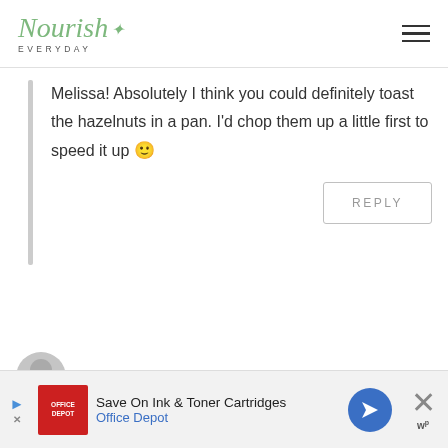[Figure (logo): Nourish Everyday logo with green cursive script text and 'EVERYDAY' in small caps below, plus hamburger menu icon on the right]
Melissa! Absolutely I think you could definitely toast the hazelnuts in a pan. I'd chop them up a little first to speed it up 🙂
REPLY
Christine | Vermilion Roots
[Figure (infographic): Advertisement banner: Save On Ink & Toner Cartridges - Office Depot]